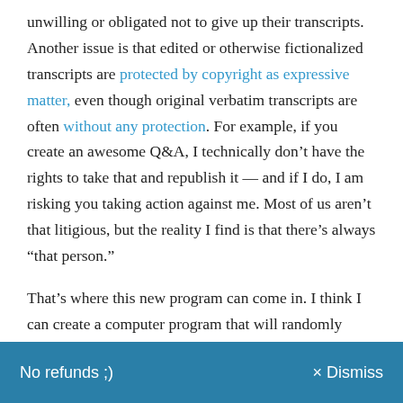unwilling or obligated not to give up their transcripts. Another issue is that edited or otherwise fictionalized transcripts are protected by copyright as expressive matter, even though original verbatim transcripts are often without any protection. For example, if you create an awesome Q&A, I technically don't have the rights to take that and republish it — and if I do, I am risking you taking action against me. Most of us aren't that litigious, but the reality I find is that there's always “that person.”
That’s where this new program can come in. I think I can create a computer program that will randomly choose traits of different people involved in the case, or
No refunds ;)   × Dismiss